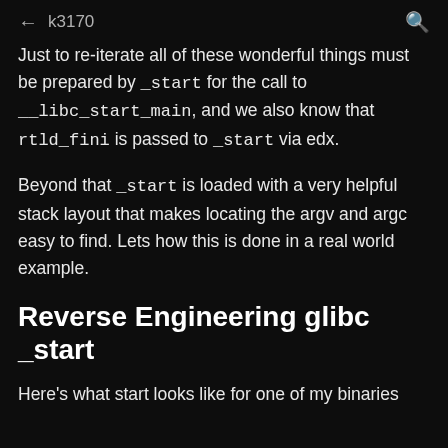← k3170  🔍
Just to re-iterate all of these wonderful things must be prepared by _start for the call to __libc_start_main, and we also know that rtld_fini is passed to _start via edx.
Beyond that _start is loaded with a very helpful stack layout that makes locating the argv and argc easy to find. Lets how this is done in a real world example.
Reverse Engineering glibc _start
Here's what start looks like for one of my binaries